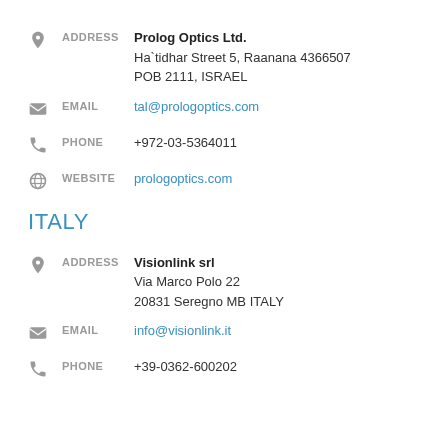ADDRESS: Prolog Optics Ltd. Ha`tidhar Street 5, Raanana 4366507 POB 2111, ISRAEL
EMAIL: tal@prologoptics.com
PHONE: +972-03-5364011
WEBSITE: prologoptics.com
ITALY
ADDRESS: Visionlink srl Via Marco Polo 22 20831 Seregno MB ITALY
EMAIL: info@visionlink.it
PHONE: +39-0362-600202